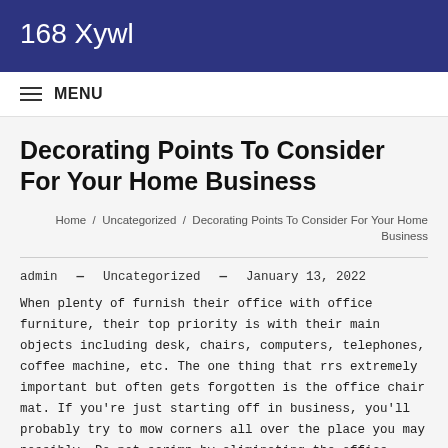168 Xywl
MENU
Decorating Points To Consider For Your Home Business
Home / Uncategorized / Decorating Points To Consider For Your Home Business
admin — Uncategorized — January 13, 2022
When plenty of furnish their office with office furniture, their top priority is with their main objects including desk, chairs, computers, telephones, coffee machine, etc. The one thing that rrs extremely important but often gets forgotten is the office chair mat. If you're just starting off in business, you'll probably try to mow corners all over the place you may possibly. Do not scrimp by eliminating the office chair station. These are not necessarily great for looks, numerous find them